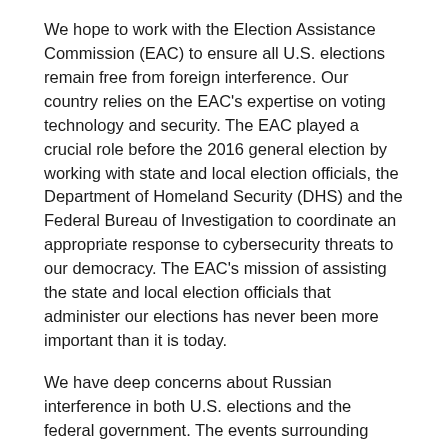We hope to work with the Election Assistance Commission (EAC) to ensure all U.S. elections remain free from foreign interference. Our country relies on the EAC's expertise on voting technology and security. The EAC played a crucial role before the 2016 general election by working with state and local election officials, the Department of Homeland Security (DHS) and the Federal Bureau of Investigation to coordinate an appropriate response to cybersecurity threats to our democracy. The EAC's mission of assisting the state and local election officials that administer our elections has never been more important than it is today.
We have deep concerns about Russian interference in both U.S. elections and the federal government. The events surrounding Michael Flynn's resignation raise serious questions about interactions between the President's campaign and transition teams and Russian officials. Seventeen intelligence agencies—including the Federal Bureau of Investigation, the Central Intelligence Agency, and DHS—have reported that the Russian government interfered in the 2016 election in an attempt to affect the outcome. We know that hacking extended beyond the Democratic National Committee emails to include attempts to hack into our nation's voter registration systems.